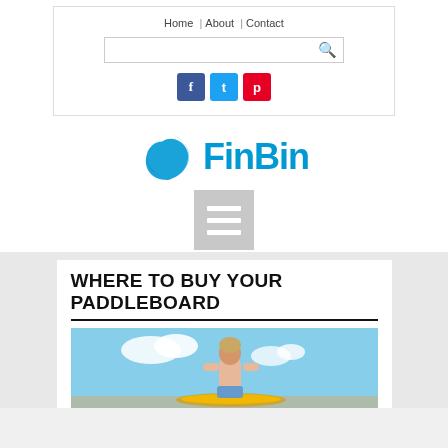Home | About | Contact
[Figure (screenshot): Search bar with magnifying glass icon]
[Figure (logo): Social media icons: Facebook (blue), Twitter (light blue), Pinterest (red)]
[Figure (logo): FinBin logo with blue wave icon and blue text]
[Figure (other): Hamburger menu icon (three horizontal white lines on gray background)]
WHERE TO BUY YOUR PADDLEBOARD
[Figure (photo): Person standing on beach holding a yellow paddleboard, viewed from behind, blue sky with clouds]